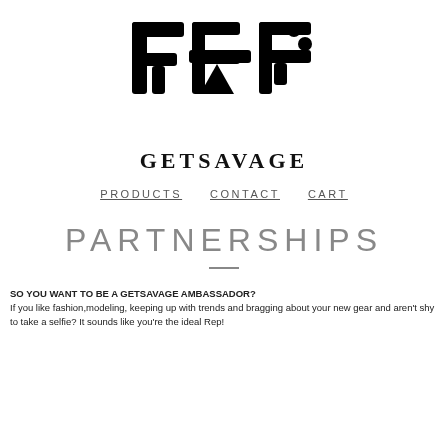[Figure (logo): GETSAVAGE logo with Japanese katakana characters サベーシ in bold black outlined style, followed by text GETSAVAGE below in serif bold]
PRODUCTS   CONTACT   CART
PARTNERSHIPS
SO YOU WANT TO BE A GETSAVAGE AMBASSADOR? If you like fashion,modeling, keeping up with trends and bragging about your new gear and aren't shy to take a selfie? It sounds like you're the ideal Rep!